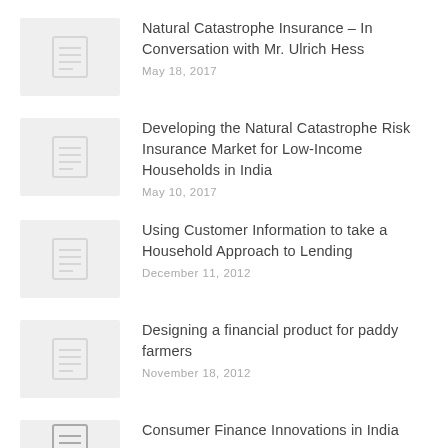Natural Catastrophe Insurance – In Conversation with Mr. Ulrich Hess
May 18, 2017
Developing the Natural Catastrophe Risk Insurance Market for Low-Income Households in India
May 10, 2017
Using Customer Information to take a Household Approach to Lending
December 11, 2012
Designing a financial product for paddy farmers
November 18, 2012
Consumer Finance Innovations in India